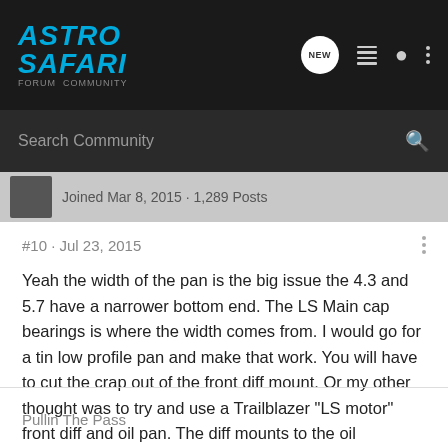[Figure (screenshot): Astro Safari forum website navigation bar with logo, NEW chat bubble icon, list icon, user icon, and three-dot menu icon on dark background]
Search Community
Joined Mar 8, 2015 · 1,289 Posts
#10 · Jul 23, 2015
Yeah the width of the pan is the big issue the 4.3 and 5.7 have a narrower bottom end. The LS Main cap bearings is where the width comes from. I would go for a tin low profile pan and make that work. You will have to cut the crap out of the front diff mount. Or my other thought was to try and use a Trailblazer "LS motor" front diff and oil pan. The diff mounts to the oil pan/engine but that's just a thought.
Pullin The Pass